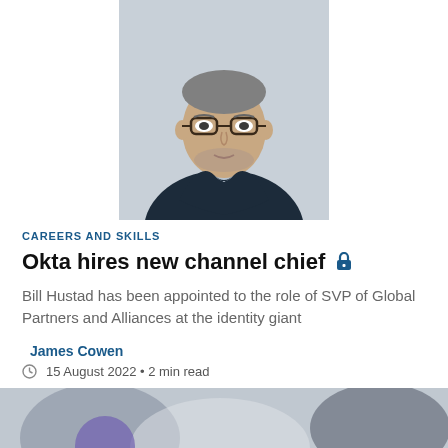[Figure (photo): Portrait photo of a middle-aged man with glasses, short grey beard, wearing a dark jacket over a striped shirt, light grey background]
CAREERS AND SKILLS
Okta hires new channel chief 🔒
Bill Hustad has been appointed to the role of SVP of Global Partners and Alliances at the identity giant
James Cowen
15 August 2022 • 2 min read
[Figure (photo): Partial bottom image, cropped, showing abstract or person-related imagery in grey tones]